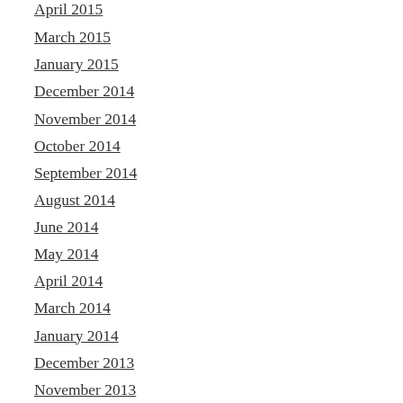April 2015
March 2015
January 2015
December 2014
November 2014
October 2014
September 2014
August 2014
June 2014
May 2014
April 2014
March 2014
January 2014
December 2013
November 2013
October 2013